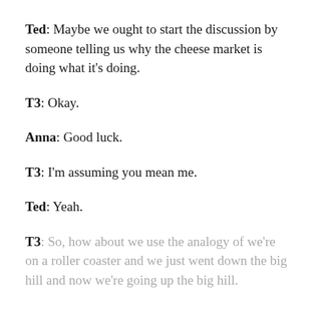Ted: Maybe we ought to start the discussion by someone telling us why the cheese market is doing what it's doing.
T3: Okay.
Anna: Good luck.
T3: I'm assuming you mean me.
Ted: Yeah.
T3: So, how about we use the analogy of we're on a roller coaster and we just went down the big hill and now we're going up the big hill.